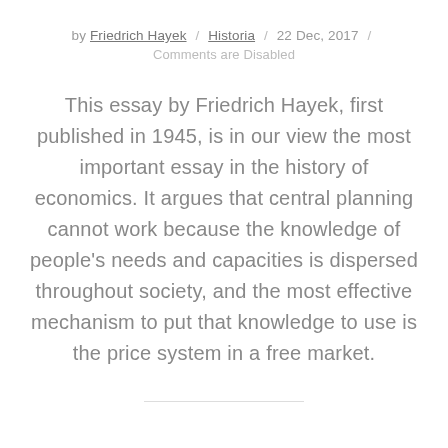by Friedrich Hayek / Historia / 22 Dec, 2017 / Comments are Disabled
This essay by Friedrich Hayek, first published in 1945, is in our view the most important essay in the history of economics. It argues that central planning cannot work because the knowledge of people's needs and capacities is dispersed throughout society, and the most effective mechanism to put that knowledge to use is the price system in a free market.